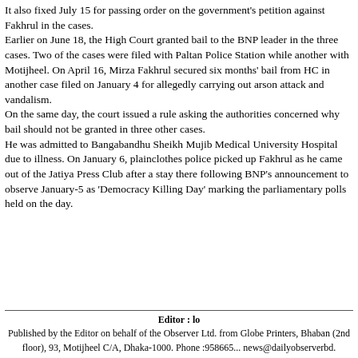It also fixed July 15 for passing order on the government's petition against Fakhrul in the cases. Earlier on June 18, the High Court granted bail to the BNP leader in the three cases. Two of the cases were filed with Paltan Police Station while another with Motijheel. On April 16, Mirza Fakhrul secured six months' bail from HC in another case filed on January 4 for allegedly carrying out arson attack and vandalism. On the same day, the court issued a rule asking the authorities concerned why bail should not be granted in three other cases. He was admitted to Bangabandhu Sheikh Mujib Medical University Hospital due to illness. On January 6, plainclothes police picked up Fakhrul as he came out of the Jatiya Press Club after a stay there following BNP's announcement to observe January-5 as 'Democracy Killing Day' marking the parliamentary polls held on the day.
Editor : lo
Published by the Editor on behalf of the Observer Ltd. from Globe Printers, Bhaban (2nd floor), 93, Motijheel C/A, Dhaka-1000. Phone :958665... news@dailyobserverbd.